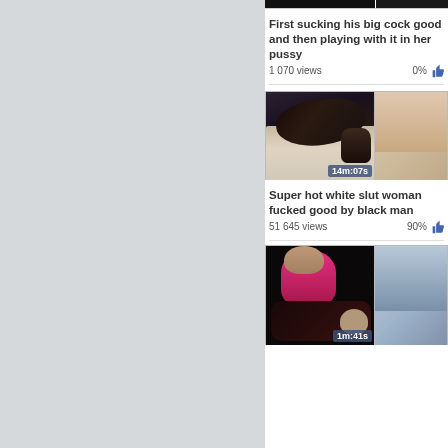[Figure (screenshot): Adult video thumbnail strip showing partial video thumbnails on right half of page with titles, view counts, ratings]
First sucking his big cock good and then playing with it in her pussy
1 070 views   0%
Hot b... a juic...
14 737
[Figure (photo): Video thumbnail showing couple on bed, duration 14m:07s]
[Figure (photo): Partial video thumbnail on right side]
Super hot white slut woman fucked good by black man
51 645 views   90%
Hot w... bareb...
11 204
[Figure (photo): Video thumbnail showing woman in pink top, duration 1m:41s]
[Figure (photo): Partial video thumbnail on right side]